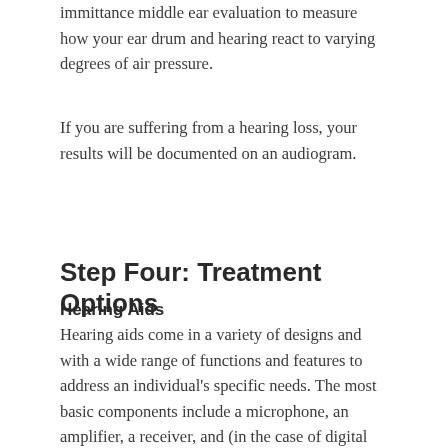immittance middle ear evaluation to measure how your ear drum and hearing react to varying degrees of air pressure.
If you are suffering from a hearing loss, your results will be documented on an audiogram.
Step Four: Treatment Options
Hearing Aids
Hearing aids come in a variety of designs and with a wide range of functions and features to address an individual's specific needs. The most basic components include a microphone, an amplifier, a receiver, and (in the case of digital hearing aids) a small computer. The unprecedented effectiveness of modern digital systems comes from a